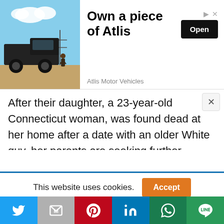[Figure (other): Advertisement banner showing a large black armored truck vehicle with a person standing next to it. Text reads 'Own a piece of Atlis' with an 'Open' button and 'Atlis Motor Vehicles' branding.]
After their daughter, a 23-year-old Connecticut woman, was found dead at her home after a date with an older White guy, her parents are seeking further information from the authorities. Lauren Smith-Fields was discovered lifeless at her home on December 12, according to News 12 Westchester. Later, she was pronounced dead.
This website uses cookies.
[Figure (other): Social media sharing bar with buttons for Twitter, Mail, Pinterest, LinkedIn, WhatsApp, and Line.]